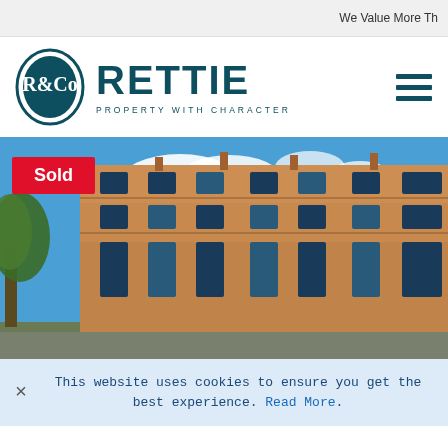We Value More Th
[Figure (logo): Rettie & Co logo — oval crest with R&Co monogram in teal/dark green, beside bold text RETTIE and tagline PROPERTY WITH CHARACTER]
[Figure (photo): Exterior photograph of a sandstone tenement building under blue sky with clouds. Green tree visible on the left. A red Sold badge is overlaid in the top-left corner of the image.]
This website uses cookies to ensure you get the best experience. Read More.